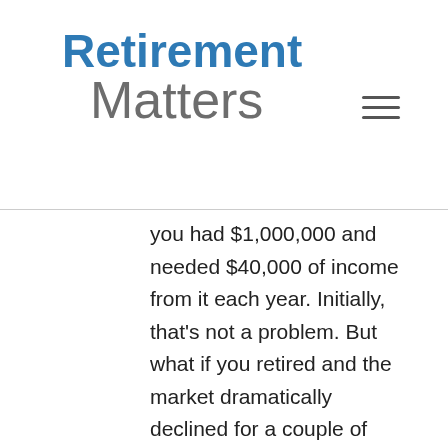Retirement Matters
you had $1,000,000 and needed $40,000 of income from it each year. Initially, that's not a problem. But what if you retired and the market dramatically declined for a couple of years. Now your lump sum is $650,000 and you still need $40,000 per year. Your annual withdrawal rate has now gone from 4% to over 6%. If your portfolio doesn't recover to previous levels, you may at risk of